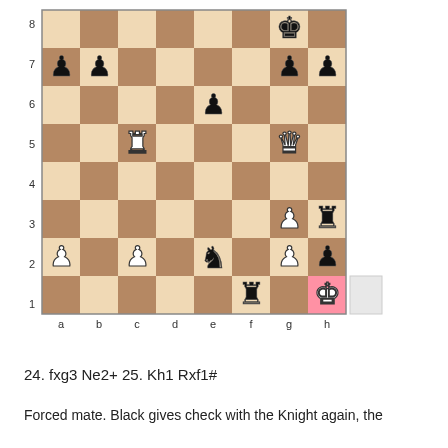[Figure (other): Chess board diagram showing position after moves. Black king on g8, black pawns on a7, b7, g7, h7, f6, white rook on c5, white queen on g5, black rook on h3, white pawn on g3, black knight on e2, white pawns on a2, c2, g2, h2, black rook on f1, white king on h1 (highlighted pink square).]
24. fxg3 Ne2+ 25. Kh1 Rxf1#
Forced mate. Black gives check with the Knight again, the